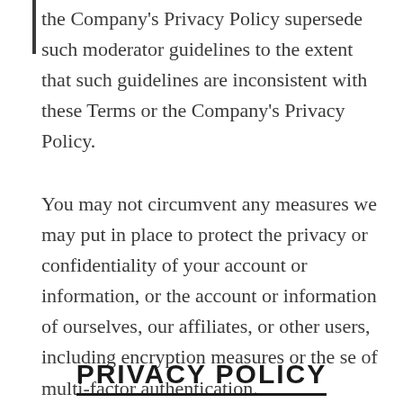the Company's Privacy Policy supersede such moderator guidelines to the extent that such guidelines are inconsistent with these Terms or the Company's Privacy Policy.
You may not circumvent any measures we may put in place to protect the privacy or confidentiality of your account or information, or the account or information of ourselves, our affiliates, or other users, including encryption measures or the se of multi-factor authentication.
PRIVACY POLICY